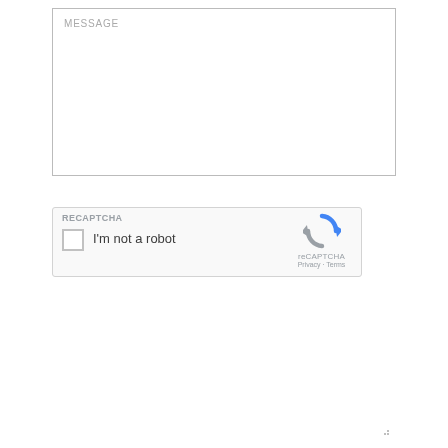[Figure (screenshot): Message text area input field with 'MESSAGE' placeholder label, resize handle at bottom-right corner]
[Figure (screenshot): reCAPTCHA widget with checkbox 'I'm not a robot', reCAPTCHA logo, Privacy and Terms links]
SUBMIT